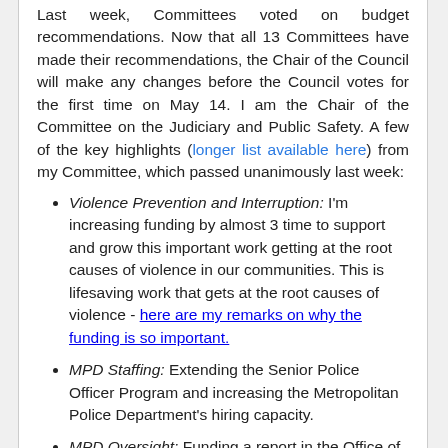Last week, Committees voted on budget recommendations. Now that all 13 Committees have made their recommendations, the Chair of the Council will make any changes before the Council votes for the first time on May 14. I am the Chair of the Committee on the Judiciary and Public Safety. A few of the key highlights (longer list available here) from my Committee, which passed unanimously last week:
Violence Prevention and Interruption: I'm increasing funding by almost 3 time to support and grow this important work getting at the root causes of violence in our communities. This is lifesaving work that gets at the root causes of violence - here are my remarks on why the funding is so important.
MPD Staffing: Extending the Senior Police Officer Program and increasing the Metropolitan Police Department's hiring capacity.
MPD Oversight: Funding a report in the Office of Police Complaints examining policing practices